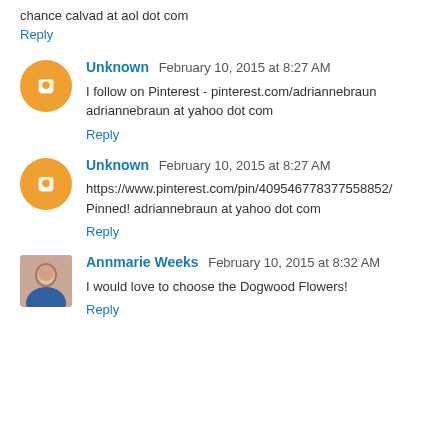chance calvad at aol dot com
Reply
Unknown   February 10, 2015 at 8:27 AM
I follow on Pinterest - pinterest.com/adriannebraun adriannebraun at yahoo dot com
Reply
Unknown   February 10, 2015 at 8:27 AM
https://www.pinterest.com/pin/409546778377558852/ Pinned! adriannebraun at yahoo dot com
Reply
Annmarie Weeks   February 10, 2015 at 8:32 AM
I would love to choose the Dogwood Flowers!
Reply